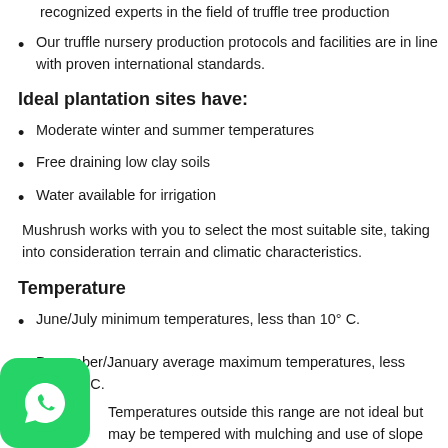recognized experts in the field of truffle tree production
Our truffle nursery production protocols and facilities are in line with proven international standards.
Ideal plantation sites have:
Moderate winter and summer temperatures
Free draining low clay soils
Water available for irrigation
Mushrush works with you to select the most suitable site, taking into consideration terrain and climatic characteristics.
Temperature
June/July minimum temperatures, less than 10° C. December/January average maximum temperatures, less than24° C.
Temperatures outside this range are not ideal but may be tempered with mulching and use of slope aspects
Dynamic cold units: 800